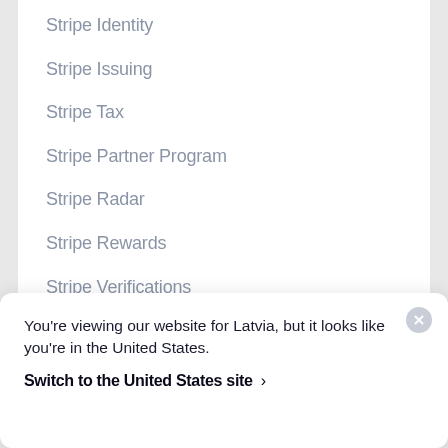Stripe Identity
Stripe Issuing
Stripe Tax
Stripe Partner Program
Stripe Radar
Stripe Rewards
Stripe Verifications
Stripe Shop
Stripe Terminal
Terminal Purchase Terms
Terminal Reseller Terms
Terminal Device EULA
You're viewing our website for Latvia, but it looks like you're in the United States.
Switch to the United States site ›